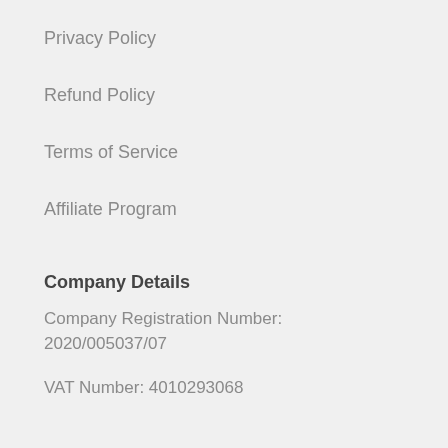Privacy Policy
Refund Policy
Terms of Service
Affiliate Program
Company Details
Company Registration Number: 2020/005037/07
VAT Number: 4010293068